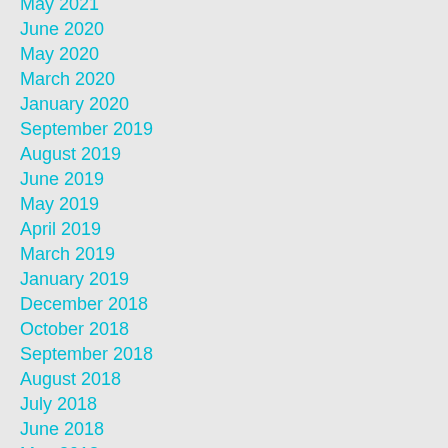May 2021
June 2020
May 2020
March 2020
January 2020
September 2019
August 2019
June 2019
May 2019
April 2019
March 2019
January 2019
December 2018
October 2018
September 2018
August 2018
July 2018
June 2018
May 2018
March 2018